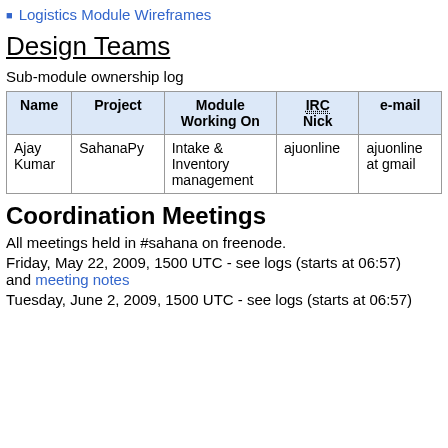Logistics Module Wireframes
Design Teams
Sub-module ownership log
| Name | Project | Module Working On | IRC Nick | e-mail |
| --- | --- | --- | --- | --- |
| Ajay Kumar | SahanaPy | Intake & Inventory management | ajuonline | ajuonline at gmail |
Coordination Meetings
All meetings held in #sahana on freenode.
Friday, May 22, 2009, 1500 UTC - see logs (starts at 06:57) and meeting notes
Tuesday, June 2, 2009, 1500 UTC - see logs (starts at 06:57)